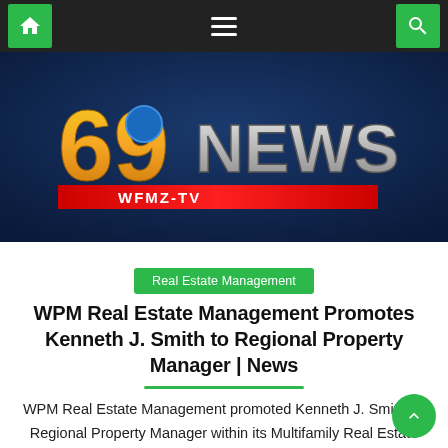Navigation bar with home icon, menu icon, and search icon
[Figure (logo): 69 NEWS WFMZ-TV logo on a dark blue background with red accent bar]
Real Estate Management
WPM Real Estate Management Promotes Kenneth J. Smith to Regional Property Manager | News
WPM Real Estate Management promoted Kenneth J. Smith as Regional Property Manager within its Multifamily Real Estate (MRE) division. Since joining WPM in 2016, Smith has gone on to take on greater responsibilities through a series